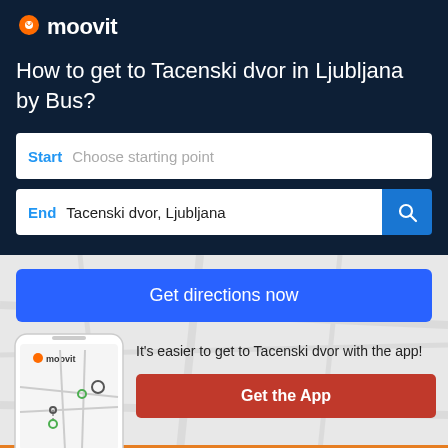[Figure (logo): Moovit logo with orange location pin icon and white text 'moovit' on dark navy background]
How to get to Tacenski dvor in Ljubljana by Bus?
Start  Choose starting point
End  Tacenski dvor, Ljubljana
Get directions now
[Figure (screenshot): Moovit app phone mockup showing map with route stops]
It's easier to get to Tacenski dvor with the app!
Get the App